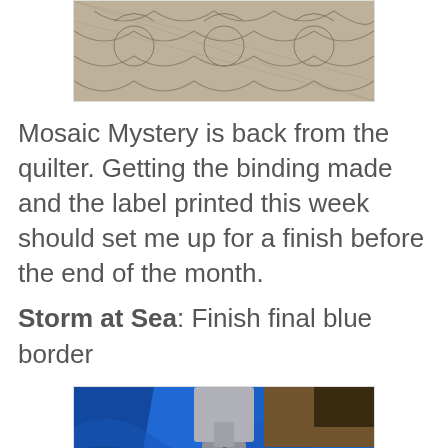[Figure (photo): Close-up of a quilted fabric with textured pattern showing stitching designs on a beige/tan background]
Mosaic Mystery is back from the quilter. Getting the binding made and the label printed this week should set me up for a finish before the end of the month.
Storm at Sea:  Finish final blue border
[Figure (photo): Close-up photo of blue fabric being sewn with a sewing machine, showing the presser foot and blue fabric under it]